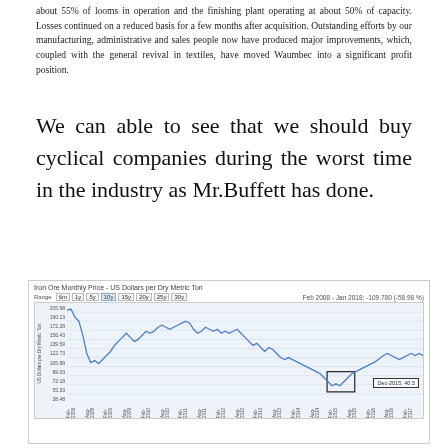about 55% of looms in operation and the finishing plant operating at about 50% of capacity. Losses continued on a reduced basis for a few months after acquisition. Outstanding efforts by our manufacturing, administrative and sales people now have produced major improvements, which, coupled with the general revival in textiles, have moved Waumbec into a significant profit position.
We can able to see that we should buy cyclical companies during the worst time in the industry as Mr.Buffett has done.
[Figure (continuous-plot): Line chart showing Iron Ore Monthly Price in US Dollars per Dry Metric Ton from approximately Feb 2008 to Jan 2018. The price started around 190, peaked near 190 early, dropped sharply to about 68, recovered to around 185, then declined overall to around 55-80. A tooltip box highlights Dec-2015: 40.5. Range annotation: Feb 2008 - Jan 2018: -109.780 (-58.98%)]